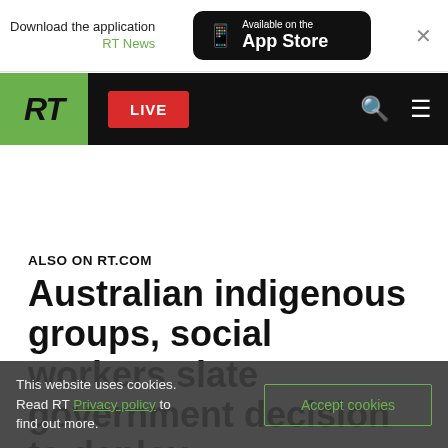[Figure (screenshot): App store banner: 'Download the application RT News' with 'Available on the App Store' badge and close button]
[Figure (screenshot): RT news website navigation bar with green RT logo, red LIVE button, search and menu icons]
ALSO ON RT.COM
Australian indigenous groups, social workers slate government decision to deploy
This website uses cookies. Read RT Privacy policy to find out more.
Accept cookies